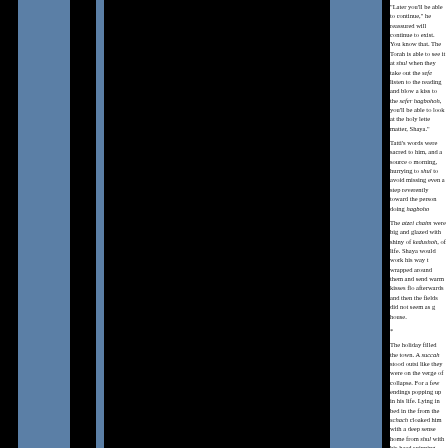"Later you'll be able to continue," he reassured will continue to exist. You know that. The Torah is able to see it at shul when they take out the sefe listen to the reading and blow a kiss to the sefer hagbohoh, you'll be able to look at the holy lette matter, Shaya."

Tatti's words were sacred to him, and a source o morning, hurrying to shul to avoid missing even a step reverently toward the person doing hagboho

The atzei chaim were big and glazed with shiny of kedushoh, of life. Shaya would work his way t wrapped around them and send warm kisses flo afterwards and then the fields did not seem as g house.

*

The holiday filled the town. A succah stood outsi like they were on the verge of collapse. For a few endings popping up in his life. Lying in bed in the from the schach cloaked him with a deep sense home from shul with his head spinning from the like the dust particles moving ceaselessly.

"Is something wrong?" Mammi asked.

Shaya shrugged his shoulders. Once again the w helpless. "A-h-h-h-h." That was how he closed a